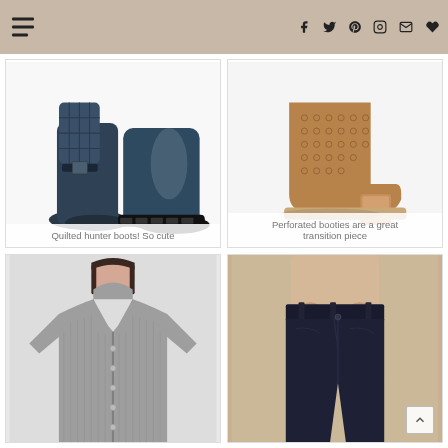Navigation header with menu icon and social media icons (Facebook, Twitter, Pinterest, Instagram, Email, Heart/Favorites)
[Figure (photo): Navy quilted Hunter rubber rain boots, short ankle style with buckle detail, glossy finish, shown on white background]
Quilted hunter boots! So cute
[Figure (photo): Tan/cognac perforated suede ankle booties with low block heel, cutout lattice pattern, on white background]
Perforated booties are a great transition piece
[Figure (photo): Gray ribbed V-neck cardigan sweater on female model, long sleeves, button front detail]
[Figure (photo): Dark wash skinny/straight jeans on female model with beige top tucked in, high-waisted style]